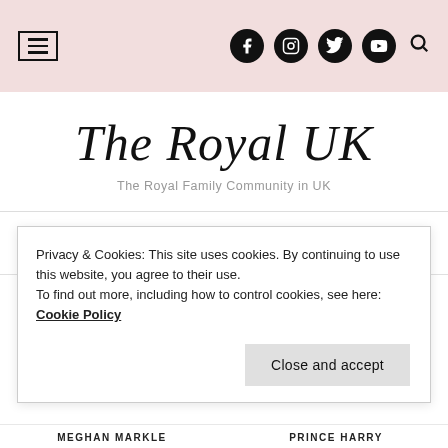The Royal UK - The Royal Family Community in UK
The Royal UK
The Royal Family Community in UK
[Figure (other): Navigation menu hamburger icon (three horizontal lines)]
Privacy & Cookies: This site uses cookies. By continuing to use this website, you agree to their use.
To find out more, including how to control cookies, see here: Cookie Policy
Close and accept
MEGHAN MARKLE   PRINCE HARRY